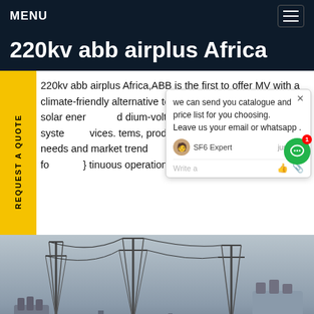MENU
220kv abb airplus Africa
220kv abb airplus Africa,ABB is the first to offer MV with a climate-friendly alternative to Sulfr afluoride. Solutions for solar ener d dium-voltage components, syste vices. tems, products and solutions ans tomers needs and market trend llo photovoltaic applications fo continuous operation, higher reliabi
[Figure (screenshot): Chat popup overlay showing: 'we can send you catalogue and price list for you choosing. Leave us your email or whatsapp .' with SF6 Expert avatar, timestamp 'just now', write input row with thumbs up and paperclip icons. Green chat button with red badge showing 1.]
[Figure (photo): Photograph of electrical power substation with high-voltage transmission towers, transformers and power lines, viewed from below against overcast sky.]
REQUEST A QUOTE